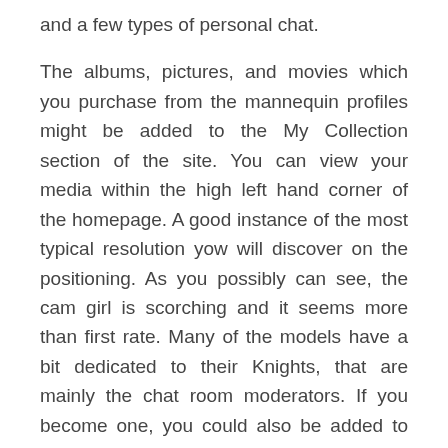and a few types of personal chat.
The albums, pictures, and movies which you purchase from the mannequin profiles might be added to the My Collection section of the site. You can view your media within the high left hand corner of the homepage. A good instance of the most typical resolution yow will discover on the positioning. As you possibly can see, the cam girl is scorching and it seems more than first rate. Many of the models have a bit dedicated to their Knights, that are mainly the chat room moderators. If you become one, you could also be added to your favourite woman's profile for all to see.
Stripchat sign up is easy, however let's look by way of some ground steps anyway. When you open it for the first time, you'll have to pick whether you wanna see women, guys, or trans people. First of all, you should complete the free registration. After that, you get into